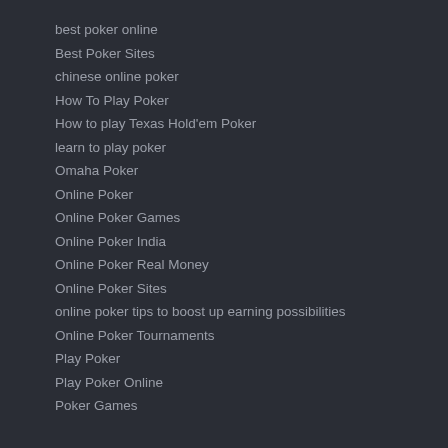best poker online
Best Poker Sites
chinese online poker
How To Play Poker
How to play Texas Hold'em Poker
learn to play poker
Omaha Poker
Online Poker
Online Poker Games
Online Poker India
Online Poker Real Money
Online Poker Sites
online poker tips to boost up earning possibilities
Online Poker Tournaments
Play Poker
Play Poker Online
Poker Games